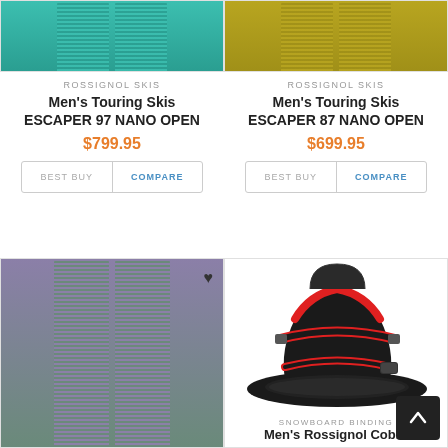[Figure (photo): Two teal/green touring skis shown side by side - ESCAPER 97 NANO OPEN]
ROSSIGNOL SKIS
Men's Touring Skis ESCAPER 97 NANO OPEN
$799.95
BEST BUY   COMPARE
[Figure (photo): Two olive/gold touring skis shown side by side - ESCAPER 87 NANO OPEN]
ROSSIGNOL SKIS
Men's Touring Skis ESCAPER 87 NANO OPEN
$699.95
BEST BUY   COMPARE
[Figure (photo): Two purple/teal touring skis shown side by side]
[Figure (photo): Black and red snowboard bindings - Men's Rossignol Cobra]
SNOWBOARD BINDING
Men's Rossignol Cobra